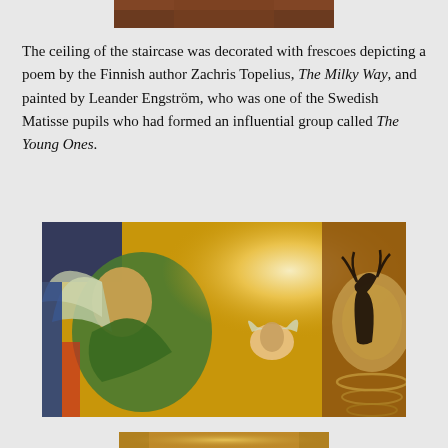[Figure (photo): Top portion of a photograph, partially visible at the top of the page, showing a dark brownish surface.]
The ceiling of the staircase was decorated with frescoes depicting a poem by the Finnish author Zachris Topelius, The Milky Way, and painted by Leander Engström, who was one of the Swedish Matisse pupils who had formed an influential group called The Young Ones.
[Figure (photo): A photograph of a fresco painting depicting mythological figures on a golden background. On the left is a large winged figure in green robes reaching toward a smaller winged figure in the center. On the right is a circular motif with a deer-like figure. The scene is illuminated with a bright light source in the upper right.]
[Figure (photo): Bottom portion of another photograph, partially visible at the bottom of the page, showing a golden-toned fresco.]